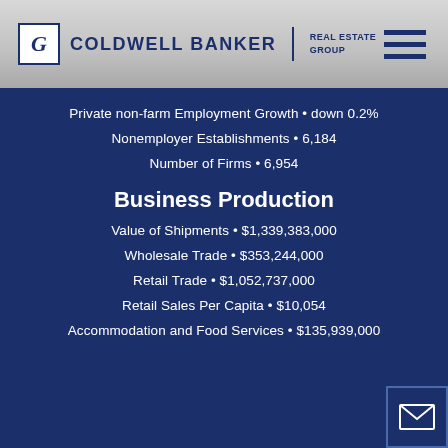[Figure (logo): Coldwell Banker Real Estate Group logo with CB icon in top-left header]
Private non-farm Employment Growth • down 0.2%
Nonemployer Establishments • 6,184
Number of Firms • 6,954
Business Production
Value of Shipments • $1,339,383,000
Wholesale Trade • $353,244,000
Retail Trade • $1,052,737,000
Retail Sales Per Capita • $10,054
Accommodation and Food Services • $135,939,000